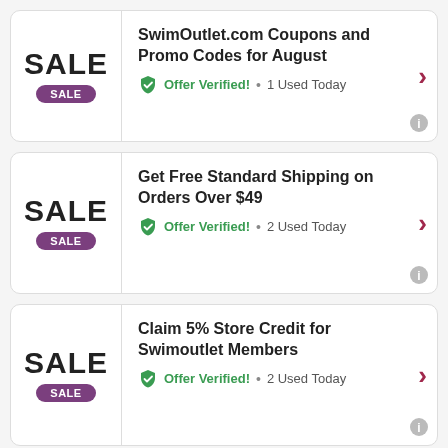SwimOutlet.com Coupons and Promo Codes for August | SALE | Offer Verified! • 1 Used Today
Get Free Standard Shipping on Orders Over $49 | SALE | Offer Verified! • 2 Used Today
Claim 5% Store Credit for Swimoutlet Members | SALE | Offer Verified! • 2 Used Today